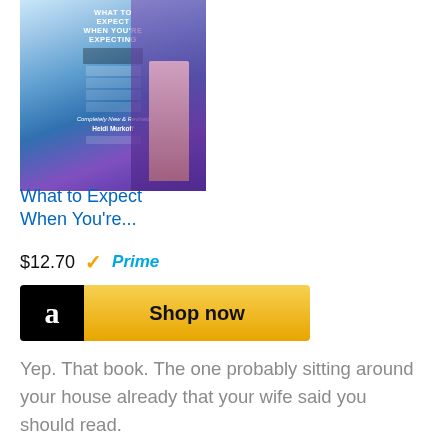[Figure (photo): Book cover of 'What to Expect When You're Expecting' showing a woman in purple top against a light background with colorful design elements]
What to Expect When You're...
$12.70  ✓Prime
[Figure (other): Amazon 'Shop now' button with black Amazon logo on left and yellow/gold background]
Yep. That book. The one probably sitting around your house already that your wife said you should read.
Although it is geared more towards moms-to-be, the book is an absolute classic. It is packed full of knowledge about everything from fetal development to milestones during the first few months.
On a side note, this book is also full of